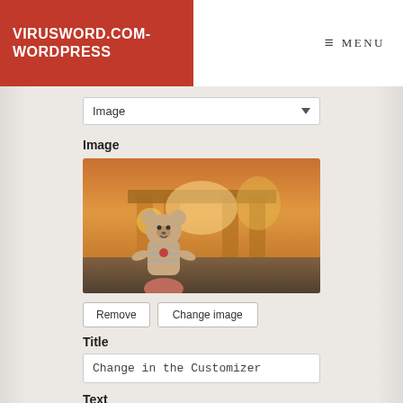VIRUSWORD.COM-WORDPRESS
≡ MENU
[Figure (screenshot): WordPress customizer panel showing an Image widget with a photo of a stuffed teddy bear held in front of an illuminated Brandenburg Gate at sunset, with Remove and Change image buttons, a Title field containing 'Change in the Customizer', and a Text section label.]